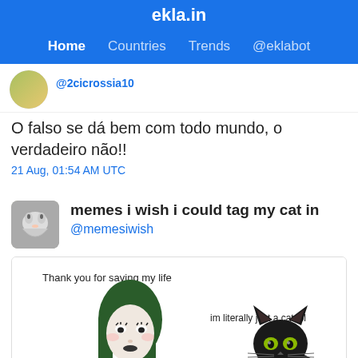ekla.in — Home Countries Trends @eklabot
O falso se dá bem com todo mundo, o verdadeiro não!!
21 Aug, 01:54 AM UTC
memes i wish i could tag my cat in
@memesiwish
[Figure (illustration): Meme image with a goth girl character on the left saying 'Thank you for saving my life' and a black fluffy cat on the right with text 'im literally just a cat lol']